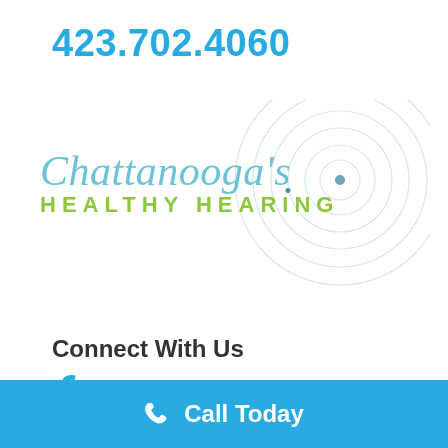423.702.4060
[Figure (logo): Chattanooga's Healthy Hearing logo with concentric sound wave circles in light blue/gray behind the text. 'Chattanooga's' in light blue italic serif font, 'HEALTHY HEARING' in green bold uppercase sans-serif with a dot above the i in HEARING.]
Connect With Us
[Figure (logo): Facebook 'f' icon in blue]
Call Today